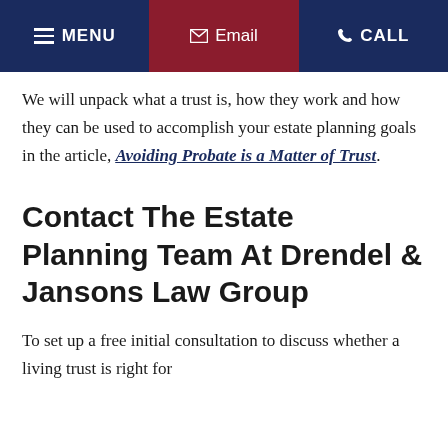MENU | Email | CALL
We will unpack what a trust is, how they work and how they can be used to accomplish your estate planning goals in the article, Avoiding Probate is a Matter of Trust.
Contact The Estate Planning Team At Drendel & Jansons Law Group
To set up a free initial consultation to discuss whether a living trust is right for